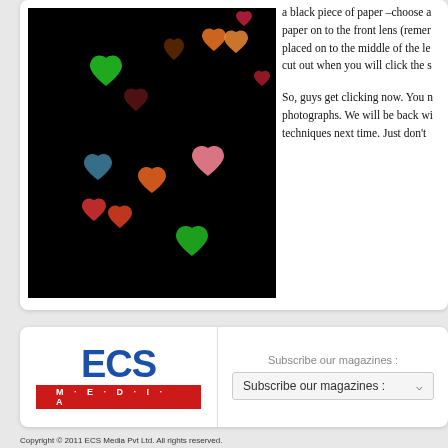[Figure (photo): Dark background bokeh photo showing colorful heart-shaped light bokeh in red, green, orange, pink, blue colors scattered across a black background]
a black piece of paper –choose a paper on to the front lens (remer placed on to the middle of the le cut out when you will click the s
So, guys get clicking now. You n photographs. We will be back wi techniques next time. Just don't
[Figure (logo): ECS Media logo with large blue ECS text and red MEDIA bar underneath]
Subscribe our magazines :
Subscribe our magazines :
Copyright © 2011 ECS Media Pvt Ltd. All rights reserved. The material on this site may not be reproduced, distributed, transmitted, cached or otherwis